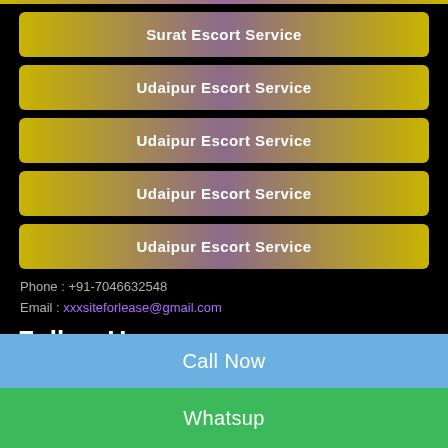Surat Escort Service
Udaipur Escort Service
Udaipur Escort Service
Udaipur Escort Service
Udaipur Escort Service
Phone : +91-7046632548
Email : xxxsiteforlease@gmail.com
Follow Us
[Figure (illustration): Three social media icon circles: Twitter, Facebook, Instagram]
Call Now
Whatsup